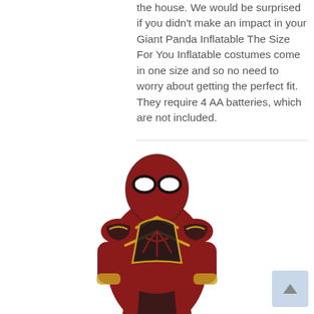the house. We would be surprised if you didn't make an impact in your Giant Panda Inflatable The Size For You Inflatable costumes come in one size and so no need to worry about getting the perfect fit. They require 4 AA batteries, which are not included.
[Figure (photo): A person wearing a red and black Spider-Man (Iron Spider) costume, shown from the waist up against a white background.]